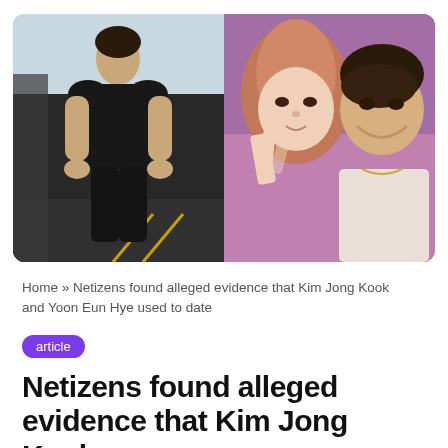[Figure (photo): Two side-by-side photos: left shows a muscular man in a black t-shirt and black pants standing in a gym; right shows a woman with pink-brown hair making a peace sign next to a smiling man.]
Home » Netizens found alleged evidence that Kim Jong Kook and Yoon Eun Hye used to date
article
Netizens found alleged evidence that Kim Jong Kook